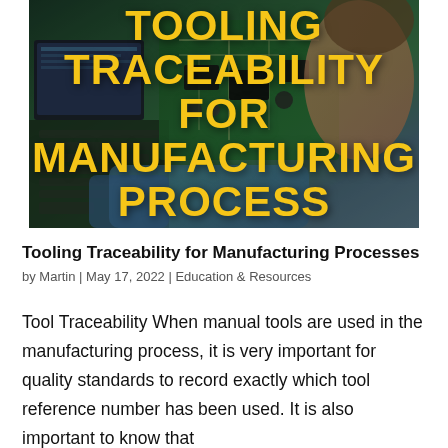[Figure (photo): Hero image of a person working with electronics/circuit boards in a manufacturing setting, overlaid with bold yellow text reading TOOLING TRACEABILITY FOR MANUFACTURING PROCESS]
Tooling Traceability for Manufacturing Processes
by Martin | May 17, 2022 | Education & Resources
Tool Traceability When manual tools are used in the manufacturing process, it is very important for quality standards to record exactly which tool reference number has been used. It is also important to know that...